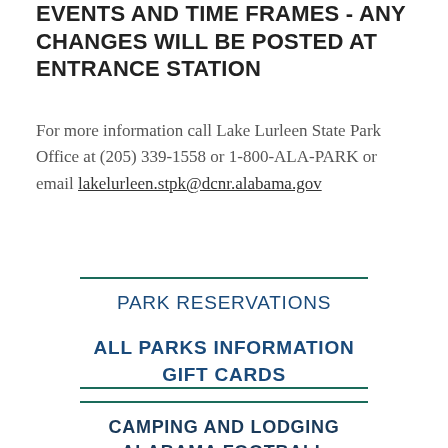EVENTS AND TIME FRAMES - ANY CHANGES WILL BE POSTED AT ENTRANCE STATION
For more information call Lake Lurleen State Park Office at (205) 339-1558 or 1-800-ALA-PARK or email lakelurleen.stpk@dcnr.alabama.gov
PARK RESERVATIONS
ALL PARKS INFORMATION
GIFT CARDS
CAMPING AND LODGING
ALABAMA FOOTBALL